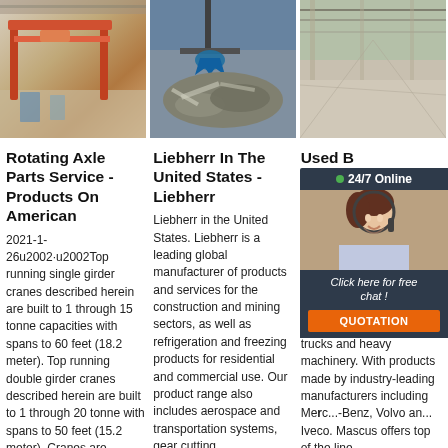[Figure (photo): Industrial overhead crane in a factory/warehouse setting with red gantry crane structure]
[Figure (photo): Industrial scrap/material handling with a crane claw grabbing scrap metal in a facility]
[Figure (photo): Large industrial warehouse or factory interior with wide floor space]
Rotating Axle Parts Service - Products On American
2021-1-26u2002·u2002Top running single girder cranes described herein are built to 1 through 15 tonne capacities with spans to 60 feet (18.2 meter). Top running double girder cranes described herein are built to 1 through 20 tonne with spans to 50 feet (15.2 meter). Cranes are designed
Liebherr In The United States - Liebherr
Liebherr in the United States. Liebherr is a leading global manufacturer of products and services for the construction and mining sectors, as well as refrigeration and freezing products for residential and commercial use. Our product range also includes aerospace and transportation systems, gear cutting
Used B... For Sa... Trucks... And O...
Used bo... sale. Ma... wide va... box tru... for sale ... marketp... trucks and heavy machinery. With products made by industry-leading manufacturers including Merc...-Benz, Volvo an... Iveco. Mascus offers top of the line
[Figure (infographic): 24/7 Online chat widget with agent photo, 'Click here for free chat!' text and QUOTATION button]